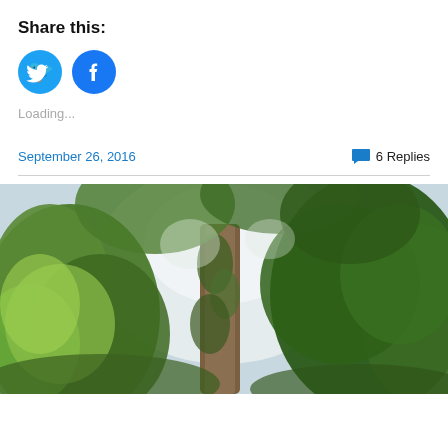Share this:
[Figure (illustration): Twitter and Facebook social share circular icon buttons in blue]
Loading...
September 26, 2016   💬 6 Replies
[Figure (photo): Outdoor photograph looking up at tall trees with dense green foliage against a bright overcast sky]